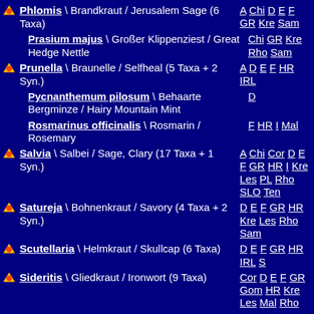Phlomis \ Brandkraut / Jerusalem Sage (6 Taxa) | A Chi D E F GR Kre Sam
Prasium majus \ Großer Klippenziest / Great Hedge Nettle | Chi GR Kre Rho Sam
Prunella \ Braunelle / Selfheal (5 Taxa + 2 Syn.) | A D E F HR IRL
Pycnanthemum pilosum \ Behaarte Bergminze / Hairy Mountain Mint | D
Rosmarinus officinalis \ Rosmarin / Rosemary | F HR I Mal
Salvia \ Salbei / Sage, Clary (17 Taxa + 1 Syn.) | A Chi Cor D E F GR HR I Kre Les PL Rho SLO Ten
Satureja \ Bohnenkraut / Savory (4 Taxa + 2 Syn.) | D E F GR HR Kre Les Rho Sam
Scutellaria \ Helmkraut / Skullcap (6 Taxa) | D E F GR HR IRL S
Sideritis \ Gliedkraut / Ironwort (9 Taxa) | Cor D E F GR Gom HR Kre Les Mal Rho